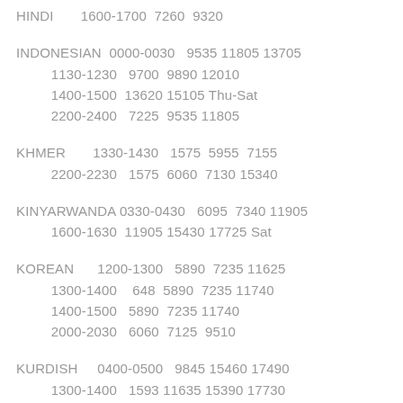HINDI       1600-1700  7260  9320
INDONESIAN  0000-0030   9535 11805 13705
         1130-1230   9700  9890 12010
         1400-1500  13620 15105 Thu-Sat
         2200-2400   7225  9535 11805
KHMER       1330-1430   1575  5955  7155
         2200-2230   1575  6060  7130 15340
KINYARWANDA 0330-0430   6095  7340 11905
         1600-1630  11905 15430 17725 Sat
KOREAN      1200-1300   5890  7235 11625
         1300-1400    648  5890  7235 11740
         1400-1500   5890  7235 11740
         2000-2030   6060  7125  9510
KURDISH     0400-0500   9845 15460 17490
         1300-1400   1593 11635 15390 17730
         1600-1700   9805 11705 15130
         1800-1900   7205 11520 11705